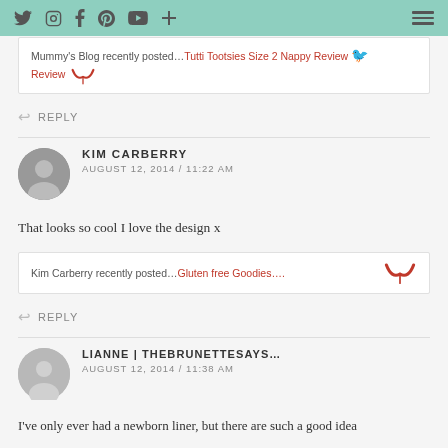Navigation bar with social icons and hamburger menu
Mummy's Blog recently posted...Tutti Tootsies Size 2 Nappy Review
REPLY
KIM CARBERRY
AUGUST 12, 2014 / 11:22 AM
That looks so cool I love the design x
Kim Carberry recently posted...Gluten free Goodies....
REPLY
LIANNE | THEBRUNETTESAYS...
AUGUST 12, 2014 / 11:38 AM
I've only ever had a newborn liner, but there are such a good idea